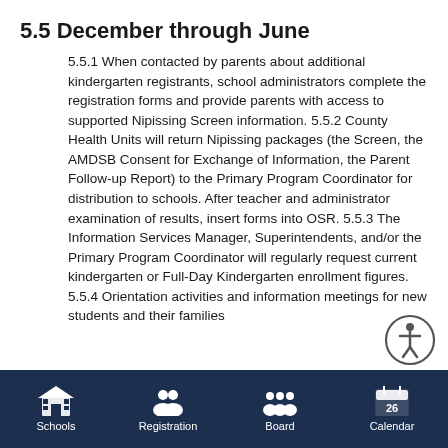5.5 December through June
5.5.1 When contacted by parents about additional kindergarten registrants, school administrators complete the registration forms and provide parents with access to supported Nipissing Screen information.
5.5.2 County Health Units will return Nipissing packages (the Screen, the AMDSB Consent for Exchange of Information, the Parent Follow-up Report) to the Primary Program Coordinator for distribution to schools. After teacher and administrator examination of results, insert forms into OSR.
5.5.3 The Information Services Manager, Superintendents, and/or the Primary Program Coordinator will regularly request current kindergarten or Full-Day Kindergarten enrollment figures.
5.5.4 Orientation activities and information meetings for new students and their families
[Figure (illustration): Accessibility icon - person in circle]
Schools  Registration  Board  Calendar